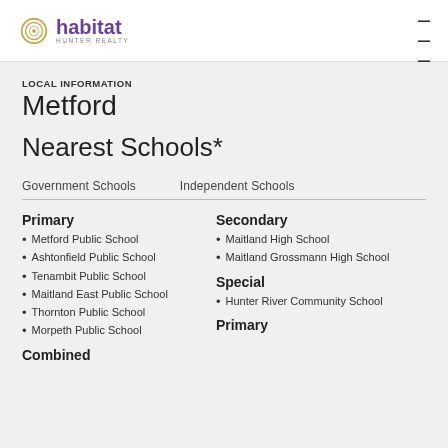habitat Hunter Realty
LOCAL INFORMATION
Metford
Nearest Schools*
Government Schools   Independent Schools
Primary
Metford Public School
Ashtonfield Public School
Tenambit Public School
Maitland East Public School
Thornton Public School
Morpeth Public School
Combined
Secondary
Maitland High School
Maitland Grossmann High School
Special
Hunter River Community School
Primary